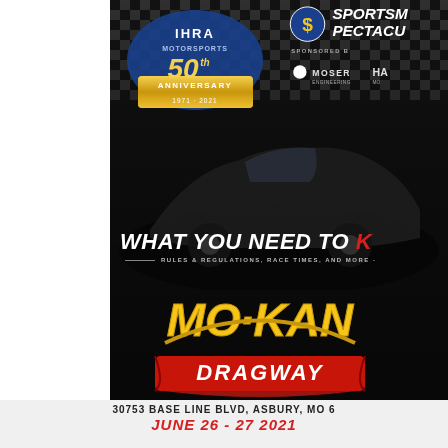[Figure (logo): IHRA Motorsports 50th Anniversary logo (1971-2021) with checkered flag background]
[Figure (logo): Sportsman Spectacular logo with dollar sign, 'SPONSORED BY', Moser Engineering and other sponsor logos]
WHAT YOU NEED TO K
RULES & REGULATIONS, RACE TIMES, AND MORE -
[Figure (logo): Mo-Kan Dragway logo in yellow and red]
30753 BASE LINE BLVD, ASBURY, MO 6
JUNE 26 - 27 2021